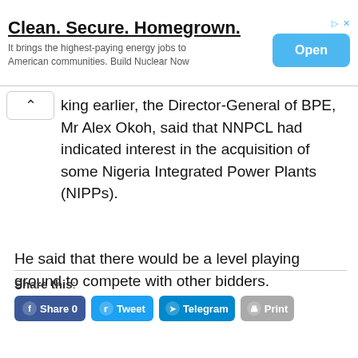[Figure (screenshot): Advertisement banner: 'Clean. Secure. Homegrown.' with subtitle 'It brings the highest-paying energy jobs to American communities. Build Nuclear Now' and an Open button]
king earlier, the Director-General of BPE, Mr Alex Okoh, said that NNPCL had indicated interest in the acquisition of some Nigeria Integrated Power Plants (NIPPs).
He said that there would be a level playing ground to compete with other bidders.
Okoh also said that the National Council on Privatisation (NCP) would be notified of the desire by the NNPCL to bid for the NIPP plants. (NAN)
Share this:
Share 0
Tweet
Telegram
Print